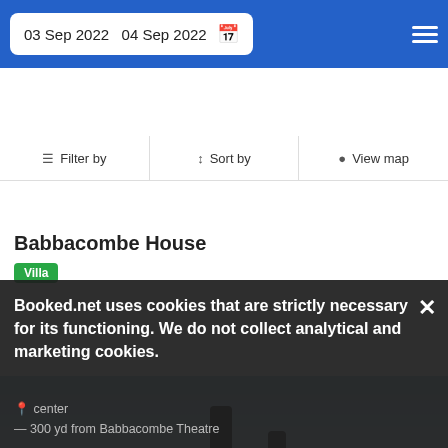03 Sep 2022  04 Sep 2022
Filter by   Sort by   View map
Babbacombe House
Villa
[Figure (photo): Rooftop terrace of Babbacombe House with outdoor seating, glass railing, and sea view in background]
Booked.net uses cookies that are strictly necessary for its functioning. We do not collect analytical and marketing cookies.
300 yd from Babbacombe Theatre